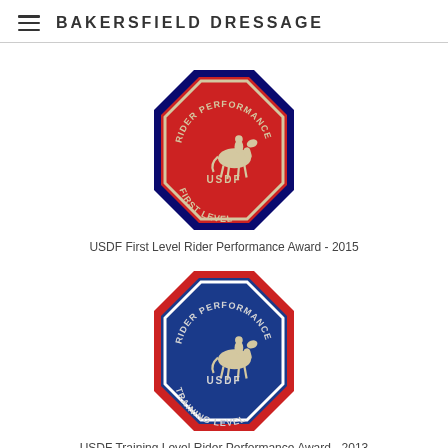BAKERSFIELD DRESSAGE
[Figure (photo): Red octagonal USDF Rider Performance First Level embroidered patch with a horse and rider silhouette in the center]
USDF First Level Rider Performance Award - 2015
[Figure (photo): Blue octagonal USDF Rider Performance Training Level embroidered patch with a horse and rider silhouette in the center]
USDF Training Level Rider Performance Award - 2013